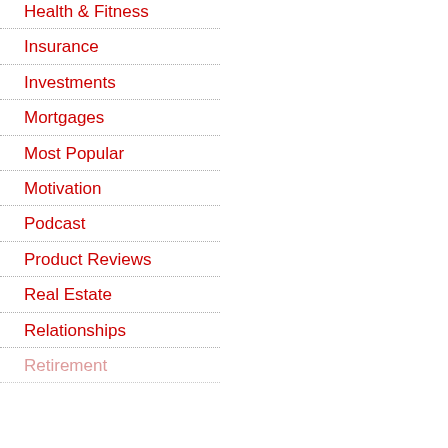Health & Fitness
Insurance
Investments
Mortgages
Most Popular
Motivation
Podcast
Product Reviews
Real Estate
Relationships
Retirement